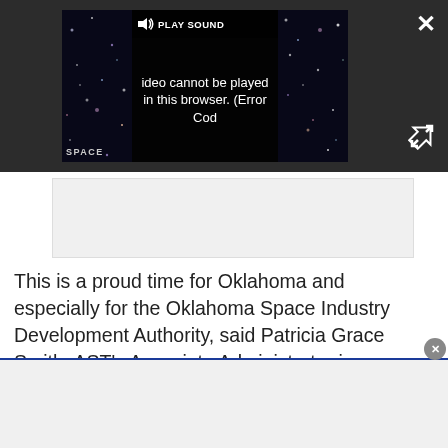[Figure (screenshot): Video player overlay showing space/galaxy imagery with an error message: 'Video cannot be played in this browser. (Error Cod' and a PLAY SOUND button. Dark background with close (X) and expand buttons.]
This is a proud time for Oklahoma and especially for the Oklahoma Space Industry Development Authority, said Patricia Grace Smith, AST's Associate Administrator in Washington, D.C. "Their hard work has paved the way to a commercial position in space."